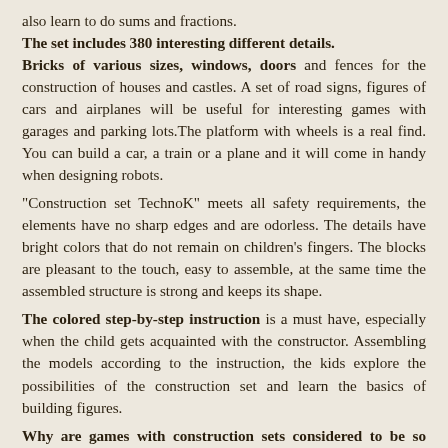also learn to do sums and fractions. The set includes 380 interesting different details. Bricks of various sizes, windows, doors and fences for the construction of houses and castles. A set of road signs, figures of cars and airplanes will be useful for interesting games with garages and parking lots.The platform with wheels is a real find. You can build a car, a train or a plane and it will come in handy when designing robots.
"Construction set TechnoK" meets all safety requirements, the elements have no sharp edges and are odorless. The details have bright colors that do not remain on children's fingers. The blocks are pleasant to the touch, easy to assemble, at the same time the assembled structure is strong and keeps its shape.
The colored step-by-step instruction is a must have, especially when the child gets acquainted with the constructor. Assembling the models according to the instruction, the kids explore the possibilities of the construction set and learn the basics of building figures.
Why are games with construction sets considered to be so useful? The most important advantage is the development of important skills.
The constructor comes with different building and ...